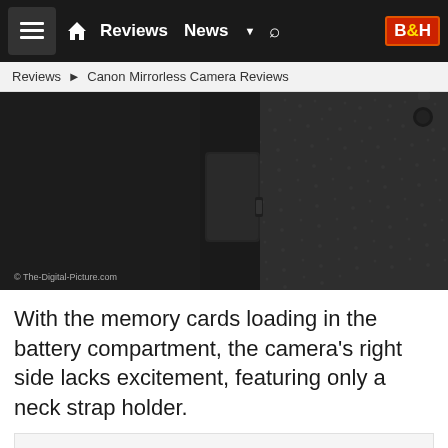Reviews  News  B&H
Reviews ► Canon Mirrorless Camera Reviews
[Figure (photo): Close-up of the right side of a Canon mirrorless camera body showing black textured grip and battery/memory card compartment area]
© The-Digital-Picture.com
With the memory cards loading in the battery compartment, the camera's right side lacks excitement, featuring only a neck strap holder.
[Figure (photo): Partially visible camera image area at bottom of page]